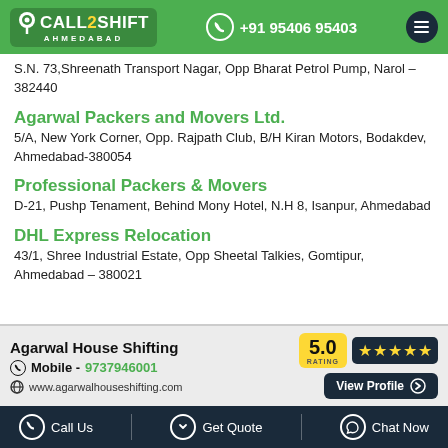CALL2SHIFT AHMEDABAD | +91 95406 95403
S.N. 73, Shreenath Transport Nagar, Opp Bharat Petrol Pump, Narol - 382440
Agarwal Packers and Movers Ltd.
5/A, New York Corner, Opp. Rajpath Club, B/H Kiran Motors, Bodakdev, Ahmedabad-380054
Professional Packers & Movers
D-21, Pushp Tenament, Behind Mony Hotel, N.H 8, Isanpur, Ahmedabad
DHL Express Relocation
43/1, Shree Industrial Estate, Opp Sheetal Talkies, Gomtipur, Ahmedabad - 380021
[Figure (infographic): Ad banner for Agarwal House Shifting with 5.0 star rating, mobile number 9737946001, website www.agarwalhouseshifting.com, and View Profile button]
Call Us | Get Quote | Chat Now